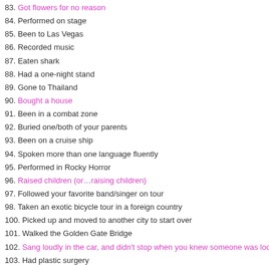83. Got flowers for no reason
84. Performed on stage
85. Been to Las Vegas
86. Recorded music
87. Eaten shark
88. Had a one-night stand
89. Gone to Thailand
90. Bought a house
91. Been in a combat zone
92. Buried one/both of your parents
93. Been on a cruise ship
94. Spoken more than one language fluently
95. Performed in Rocky Horror
96. Raised children (or…raising children)
97. Followed your favorite band/singer on tour
98. Taken an exotic bicycle tour in a foreign country
100. Picked up and moved to another city to start over
101. Walked the Golden Gate Bridge
102. Sang loudly in the car, and didn't stop when you knew someone was looking
103. Had plastic surgery
104. Survived an accident that you shouldn't have survived
105. Wrote articles for a large publication
106. Lost over 100 pounds
107. Held someone while they were having a flashback
108. Piloted an airplane